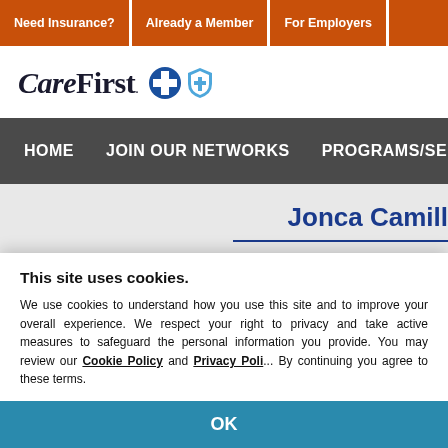Need Insurance?   Already a Member   For Employers
[Figure (logo): CareFirst BlueCross BlueShield logo with italic 'Care' and bold 'First' text followed by blue cross and blue shield icons]
HOME   JOIN OUR NETWORKS   PROGRAMS/SERVICES   RES...
Jonca Camill
← Back
This site uses cookies.

We use cookies to understand how you use this site and to improve your overall experience. We respect your right to privacy and take active measures to safeguard the personal information you provide. You may review our Cookie Policy and Privacy Policy. By continuing you agree to these terms.
OK